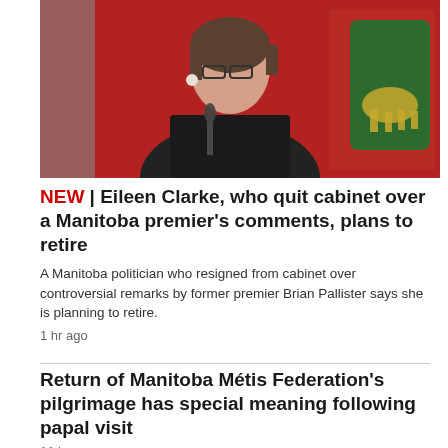[Figure (photo): A woman with short brown hair and glasses, wearing a dark blazer over a floral top, speaking at a podium with microphones. Behind her are red and green flags.]
NEW | Eileen Clarke, who quit cabinet over a Manitoba premier's comments, plans to retire
A Manitoba politician who resigned from cabinet over controversial remarks by former premier Brian Pallister says she is planning to retire.
1 hr ago
Return of Manitoba Métis Federation's pilgrimage has special meaning following papal visit
11 hr ago